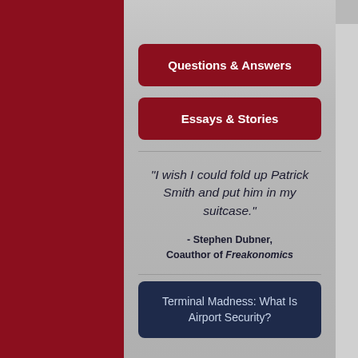January 20, 2016 · P
Questions & Answers
Essays & Stories
"I wish I could fold up Patrick Smith and put him in my suitcase."
- Stephen Dubner, Coauthor of Freakonomics
Terminal Madness: What Is Airport Security?